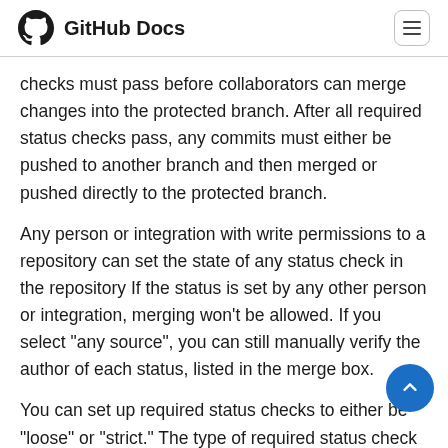GitHub Docs
checks must pass before collaborators can merge changes into the protected branch. After all required status checks pass, any commits must either be pushed to another branch and then merged or pushed directly to the protected branch.
Any person or integration with write permissions to a repository can set the state of any status check in the repository If the status is set by any other person or integration, merging won't be allowed. If you select "any source", you can still manually verify the author of each status, listed in the merge box.
You can set up required status checks to either be "loose" or "strict." The type of required status check you cho determines whether your branch is required to be up to date with the base branch before merging.